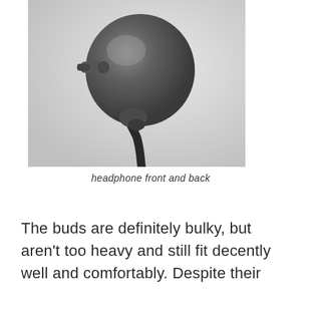[Figure (photo): Close-up photo of a dark gray in-ear headphone earbud showing the rounded bulky housing with a small nozzle on the left and the cable extending downward, photographed against a light gray background.]
headphone front and back
The buds are definitely bulky, but aren't too heavy and still fit decently well and comfortably. Despite their